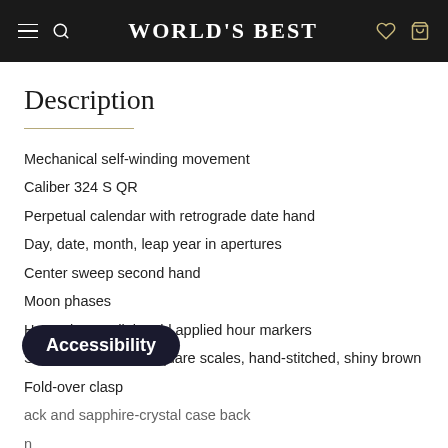World's Best
Description
Mechanical self-winding movement
Caliber 324 S QR
Perpetual calendar with retrograde date hand
Day, date, month, leap year in apertures
Center sweep second hand
Moon phases
Honey brown dial, gold applied hour markers
Strap: alligator with square scales, hand-stitched, shiny brown
Fold-over clasp
ack and sapphire-crystal case back
n
Platinum